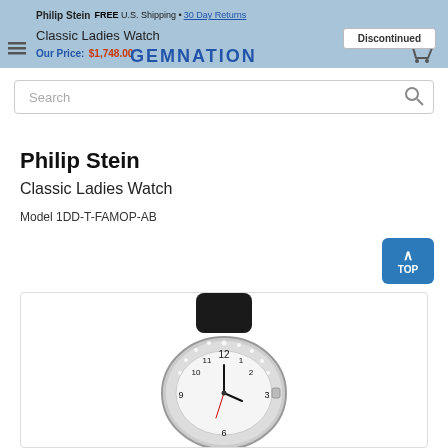Philip Stein Classic Ladies Watch — FREE U.S. Shipping • 30 Day Returns — Our Price: $1,748.00 — GEMNATION — Discontinued
Search
Philip Stein
Classic Ladies Watch
Model 1DD-T-FAMOP-AB
[Figure (photo): Philip Stein Classic Ladies Watch with white diamond-set case and black leather band]